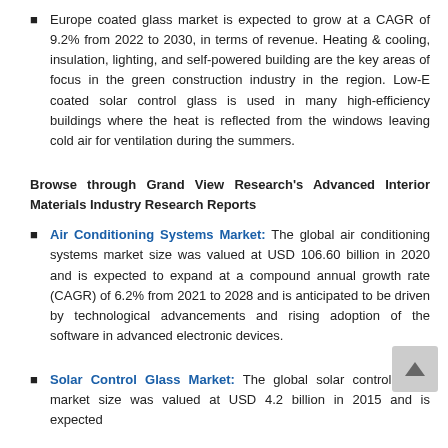Europe coated glass market is expected to grow at a CAGR of 9.2% from 2022 to 2030, in terms of revenue. Heating & cooling, insulation, lighting, and self-powered building are the key areas of focus in the green construction industry in the region. Low-E coated solar control glass is used in many high-efficiency buildings where the heat is reflected from the windows leaving cold air for ventilation during the summers.
Browse through Grand View Research's Advanced Interior Materials Industry Research Reports
Air Conditioning Systems Market: The global air conditioning systems market size was valued at USD 106.60 billion in 2020 and is expected to expand at a compound annual growth rate (CAGR) of 6.2% from 2021 to 2028 and is anticipated to be driven by technological advancements and rising adoption of the software in advanced electronic devices.
Solar Control Glass Market: The global solar control glass market size was valued at USD 4.2 billion in 2015 and is expected